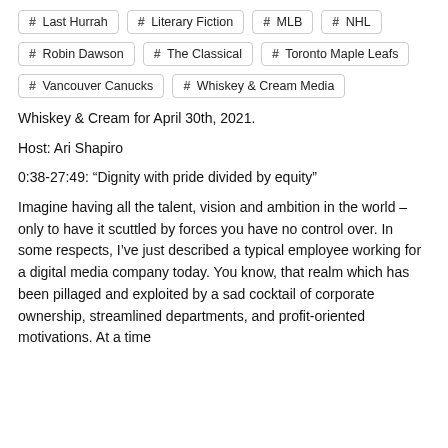# Last Hurrah
# Literary Fiction
# MLB
# NHL
# Robin Dawson
# The Classical
# Toronto Maple Leafs
# Vancouver Canucks
# Whiskey & Cream Media
Whiskey & Cream for April 30th, 2021.
Host: Ari Shapiro
0:38-27:49: “Dignity with pride divided by equity”
Imagine having all the talent, vision and ambition in the world – only to have it scuttled by forces you have no control over. In some respects, I’ve just described a typical employee working for a digital media company today. You know, that realm which has been pillaged and exploited by a sad cocktail of corporate ownership, streamlined departments, and profit-oriented motivations. At a time when it’s coupled with a polarisation in desertisation...